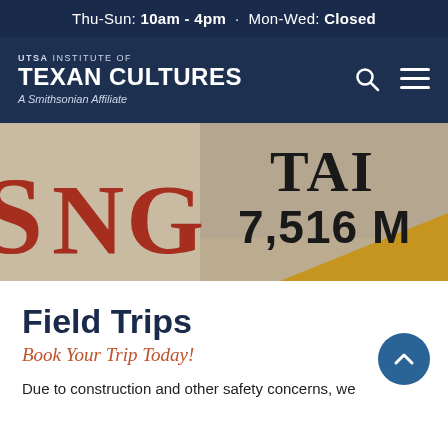Thu-Sun: 10am - 4pm · Mon-Wed: Closed
[Figure (logo): UTSA Institute of Texan Cultures - A Smithsonian Affiliate logo with search and menu icons]
[Figure (photo): Close-up photo of colorful painted signs featuring large letters and numbers including 'NG', 'TAI', and '7,516 M']
Field Trips
Book Your Trip Today!
Due to construction and other safety concerns, we